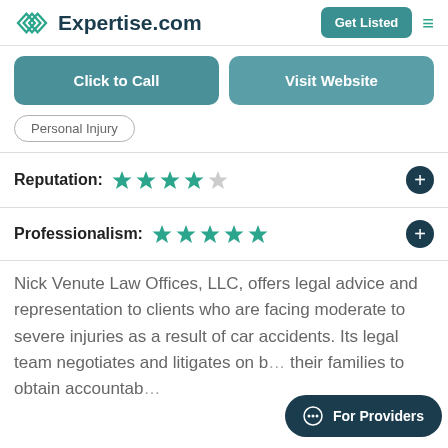Expertise.com | Get Listed
Click to Call | Visit Website
Personal Injury
Reputation: ★★★★☆
Professionalism: ★★★★★
Nick Venute Law Offices, LLC, offers legal advice and representation to clients who are facing moderate to severe injuries as a result of car accidents. Its legal team negotiates and litigates on behalf of their families to obtain accountab…